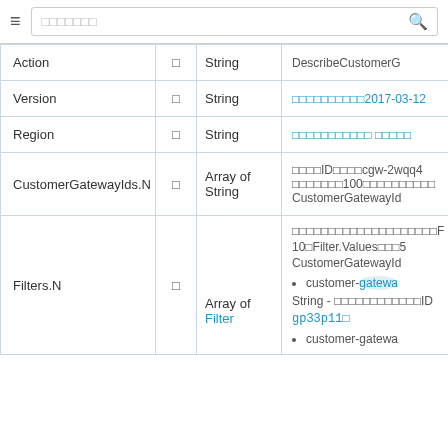Search bar with hamburger menu icon
| Parameter | Req | Type | Description |
| --- | --- | --- | --- |
| Action | □ | String | DescribeCustomerG... |
| Version | □ | String | □□□□□□□□□□2017-03-12... |
| Region | □ | String | □□□□□□□□□□□ □□□□□ |
| CustomerGatewayIds.N | □ | Array of String | □□□□ID□□□□cgw-2wqq4... □□□□□□□100□□□□□□□□□□ CustomerGatewayId... |
| Filters.N | □ | Array of Filter | □□□□□□□□□□□□□□□□□□□□□F... 10□Filter.Values□□□5... CustomerGatewayId...
• customer-gatewa...
String - □□□□□□□□□□□□ID□ gp33p11□
• customer-gatewa... |